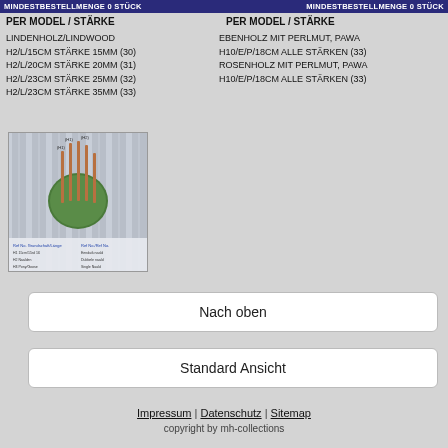MINDESTBESTELLMENGE 0 STÜCK — MINDESTBESTELLMENGE 0 STÜCK
PER MODEL / STÄRKE  |  PER MODEL / STÄRKE
LINDENHOLZ/LINDWOOD
H2/L/15CM STÄRKE 15MM (30)
H2/L/20CM STÄRKE 20MM (31)
H2/L/23CM STÄRKE 25MM (32)
H2/L/23CM STÄRKE 35MM (33)
EBENHOLZ MIT PERLMUT, PAWA
H10/E/P/18CM ALLE STÄRKEN (33)
ROSENHOLZ MIT PERLMUT, PAWA
H10/E/P/18CM ALLE STÄRKEN (33)
[Figure (photo): Photo of a circular green object with several thin needle-like pins/rods inserted into it, displayed against a striped background, with a reference table below showing model sizes.]
Nach oben
Standard Ansicht
Impressum | Datenschutz | Sitemap
copyright by mh-collections